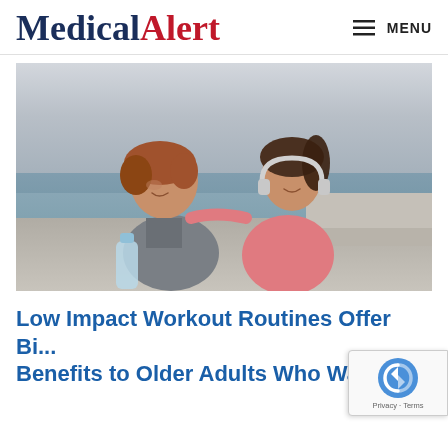Medical Alert  ≡ MENU
[Figure (photo): Two women walking together outdoors near water. An older woman with curly auburn hair in a grey zip-up jacket holds a water bottle. A younger woman in a pink tank top with white headphones around her neck has her arm around the older woman. Both are smiling. Background shows a grey, overcast sky and sea.]
Low Impact Workout Routines Offer Big Benefits to Older Adults Who Want to...